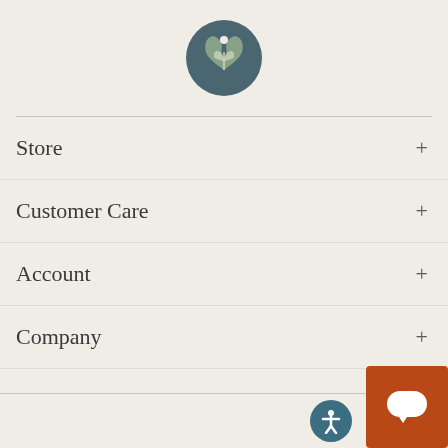[Figure (logo): Circular dark teal logo with stylized leaf/wing motif and small circle, on beige background]
Store +
Customer Care +
Account +
Company +
[Figure (illustration): Teal circular accessibility icon (person with arms outstretched) and an orange/red square chat button with speech bubble icon in bottom right corner]